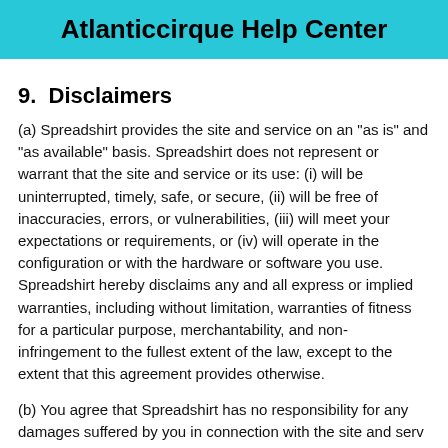Atlanticcirque Help Center
9. Disclaimers
(a) Spreadshirt provides the site and service on an "as is" and "as available" basis. Spreadshirt does not represent or warrant that the site and service or its use: (i) will be uninterrupted, timely, safe, or secure, (ii) will be free of inaccuracies, errors, or vulnerabilities, (iii) will meet your expectations or requirements, or (iv) will operate in the configuration or with the hardware or software you use. Spreadshirt hereby disclaims any and all express or implied warranties, including without limitation, warranties of fitness for a particular purpose, merchantability, and non-infringement to the fullest extent of the law, except to the extent that this agreement provides otherwise.
(b) You agree that Spreadshirt has no responsibility for any damages suffered by you in connection with the site and serv... and that use of the site and service, including all content, data or software distributed by, downloaded, or accessed from or through the site and service, is at your sole risk. You understand